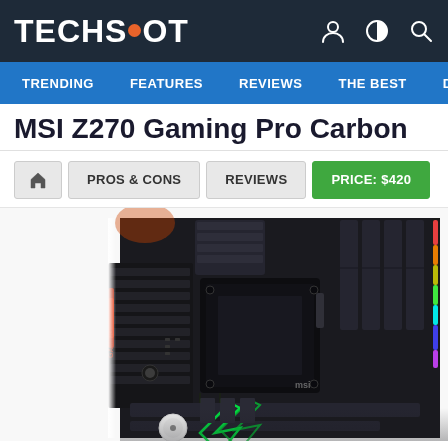TECHSPOT
TRENDING | FEATURES | REVIEWS | THE BEST | DOWNLC
MSI Z270 Gaming Pro Carbon
PROS & CONS
REVIEWS
PRICE: $420
[Figure (photo): MSI Z270 Gaming Pro Carbon motherboard with RGB lighting, showing the CPU socket, RAM slots, heatsinks, and PCIe slots on a black PCB with green and red RGB accents]